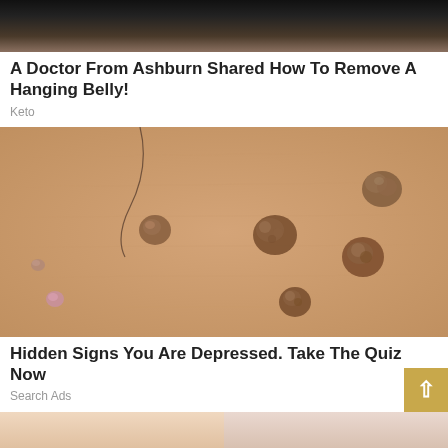[Figure (photo): Top portion of a photo showing a person's midsection, partially cropped]
A Doctor From Ashburn Shared How To Remove A Hanging Belly!
Keto
[Figure (photo): Close-up photo of skin with multiple raised skin tags/bumps]
Hidden Signs You Are Depressed. Take The Quiz Now
Search Ads
[Figure (photo): Bottom strip showing two partial face/skin images cropped]